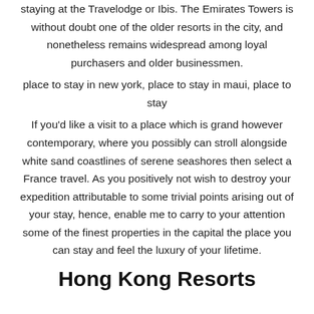staying at the Travelodge or Ibis. The Emirates Towers is without doubt one of the older resorts in the city, and nonetheless remains widespread among loyal purchasers and older businessmen.
place to stay in new york, place to stay in maui, place to stay
If you'd like a visit to a place which is grand however contemporary, where you possibly can stroll alongside white sand coastlines of serene seashores then select a France travel. As you positively not wish to destroy your expedition attributable to some trivial points arising out of your stay, hence, enable me to carry to your attention some of the finest properties in the capital the place you can stay and feel the luxury of your lifetime.
Hong Kong Resorts